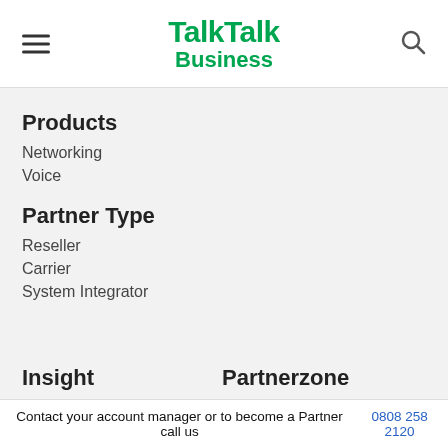TalkTalk Business
Products
Networking
Voice
Partner Type
Reseller
Carrier
System Integrator
Insight
Partnerzone
Contact your account manager or to become a Partner call us 0808 258 2120